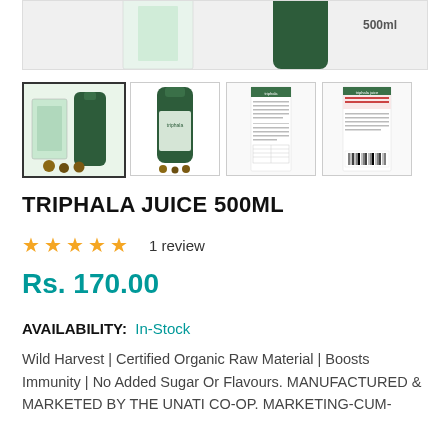[Figure (photo): Main product image showing Triphala Juice 500ml box and bottle, top portion cropped]
[Figure (photo): Thumbnail 1 (selected): Product box and bottle side by side on light green background]
[Figure (photo): Thumbnail 2: Single dark green bottle of Triphala Juice on white background]
[Figure (photo): Thumbnail 3: Back label of product showing nutrition/ingredient information]
[Figure (photo): Thumbnail 4: Side/back label of product showing barcode and additional info]
TRIPHALA JUICE 500ML
1 review
Rs. 170.00
AVAILABILITY: In-Stock
Wild Harvest | Certified Organic Raw Material | Boosts Immunity | No Added Sugar Or Flavours. MANUFACTURED & MARKETED BY THE UNATI CO-OP. MARKETING-CUM-